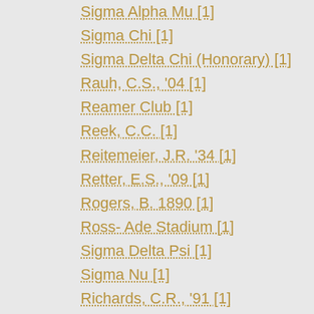Sigma Alpha Mu [1]
Sigma Chi [1]
Sigma Delta Chi (Honorary) [1]
Rauh, C.S., '04 [1]
Reamer Club [1]
Reek, C.C. [1]
Reitemeier, J.R. '34 [1]
Retter, E.S., '09 [1]
Rogers, B. 1890 [1]
Ross- Ade Stadium [1]
Sigma Delta Psi [1]
Sigma Nu [1]
Richards, C.R., '91 [1]
Ripley, G.E., '99 [1]
Sigma Phi Epsilon [1]
Sigma Pi [1]
Simpson, Robert A. [1]
Ross, David E. [1]
Rowell, L.D. [1]
Roy, E.H. 1916 [1]
Rubenkoenig, H. [1]
Ph...
Pub...
Sub...
Dat...
p. 2
[Sk...
Pub...
Sub...
Dat...
p. 6
Por...
Pub...
Sub...
Dat...
p. 1
Ph...
Pub...
Sub...
Dat...